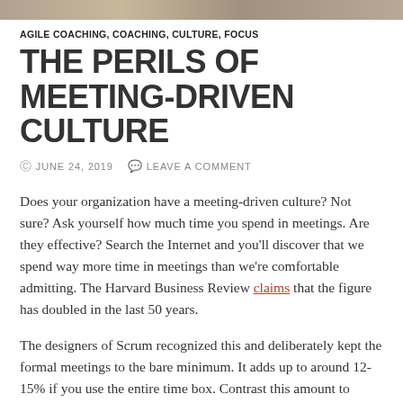[Figure (photo): Partial photo strip at top of page]
AGILE COACHING, COACHING, CULTURE, FOCUS
THE PERILS OF MEETING-DRIVEN CULTURE
© JUNE 24, 2019   🗨 LEAVE A COMMENT
Does your organization have a meeting-driven culture? Not sure? Ask yourself how much time you spend in meetings. Are they effective? Search the Internet and you'll discover that we spend way more time in meetings than we're comfortable admitting. The Harvard Business Review claims that the figure has doubled in the last 50 years.
The designers of Scrum recognized this and deliberately kept the formal meetings to the bare minimum. It adds up to around 12-15% if you use the entire time box. Contrast this amount to many organizations and you will discover that Scrum is quite